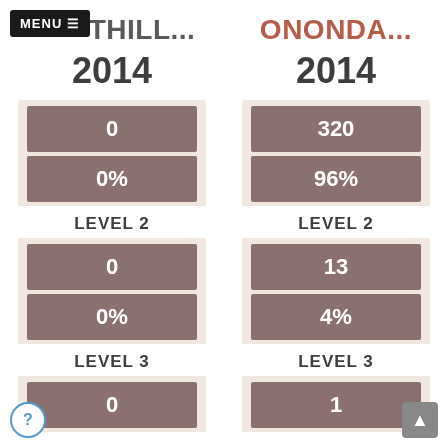MENU
WESTHILL... 2014
ONONDA... 2014
0
0%
LEVEL 2
0
0%
LEVEL 3
0
320
96%
LEVEL 2
13
4%
LEVEL 3
1